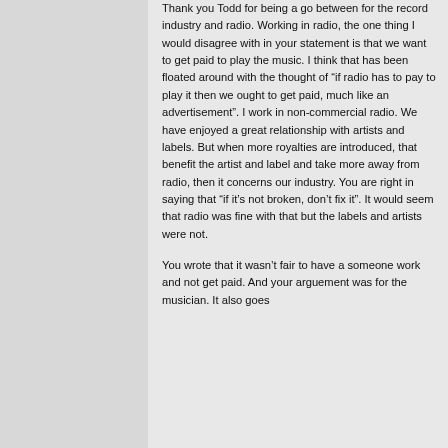Thank you Todd for being a go between for the record industry and radio. Working in radio, the one thing I would disagree with in your statement is that we want to get paid to play the music. I think that has been floated around with the thought of "if radio has to pay to play it then we ought to get paid, much like an advertisement". I work in non-commercial radio. We have enjoyed a great relationship with artists and labels. But when more royalties are introduced, that benefit the artist and label and take more away from radio, then it concerns our industry. You are right in saying that "if it's not broken, don't fix it". It would seem that radio was fine with that but the labels and artists were not.
You wrote that it wasn't fair to have a someone work and not get paid. And your arguement was for the musician. It also goes